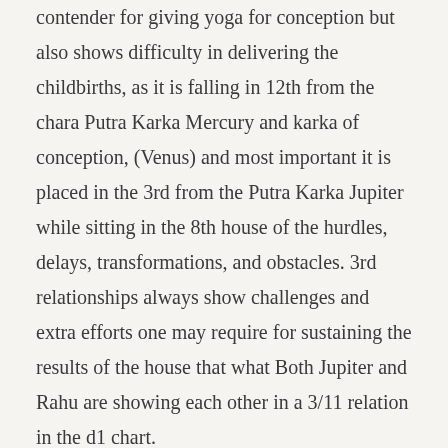contender for giving yoga for conception but also shows difficulty in delivering the childbirths, as it is falling in 12th from the chara Putra Karka Mercury and karka of conception, (Venus) and most important it is placed in the 3rd from the Putra Karka Jupiter while sitting in the 8th house of the hurdles, delays, transformations, and obstacles. 3rd relationships always show challenges and extra efforts one may require for sustaining the results of the house that what Both Jupiter and Rahu are showing each other in a 3/11 relation in the d1 chart.
But the basic problem in native chart is all these planets are placed in Bhadhaka sthan with